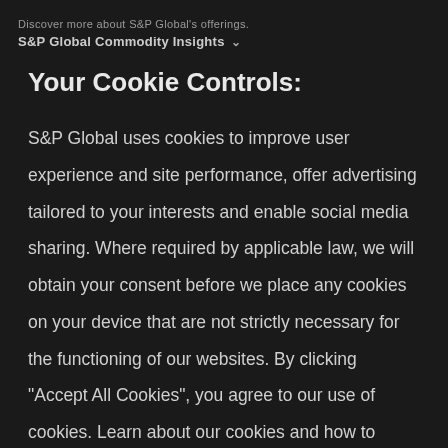Discover more about S&P Global's offerings.
S&P Global Commodity Insights ∨
Your Cookie Controls:
S&P Global uses cookies to improve user experience and site performance, offer advertising tailored to your interests and enable social media sharing. Where required by applicable law, we will obtain your consent before we place any cookies on your device that are not strictly necessary for the functioning of our websites. By clicking "Accept All Cookies", you agree to our use of cookies. Learn about our cookies and how to modify your preferences in our Cookie Notice